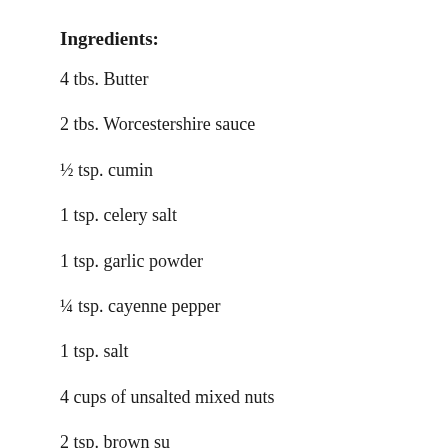Ingredients:
4 tbs. Butter
2 tbs. Worcestershire sauce
½ tsp. cumin
1 tsp. celery salt
1 tsp. garlic powder
¼ tsp. cayenne pepper
1 tsp. salt
4 cups of unsalted mixed nuts
2 tsp. brown sugar